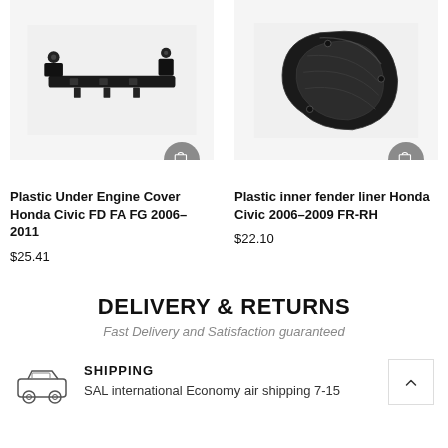[Figure (photo): Product image of Plastic Under Engine Cover Honda Civic FD FA FG 2006-2011, black plastic part]
Plastic Under Engine Cover Honda Civic FD FA FG 2006-2011
$25.41
[Figure (photo): Product image of Plastic inner fender liner Honda Civic 2006-2009 FR-RH, black plastic fender liner]
Plastic inner fender liner Honda Civic 2006-2009 FR-RH
$22.10
DELIVERY & RETURNS
Fast Delivery and Satisfaction guaranteed
SHIPPING
SAL international Economy air shipping 7-15